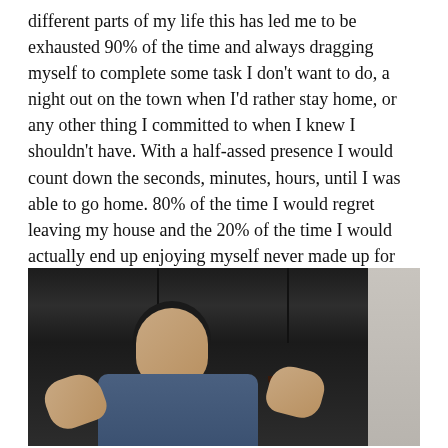different parts of my life this has led me to be exhausted 90% of the time and always dragging myself to complete some task I don't want to do, a night out on the town when I'd rather stay home, or any other thing I committed to when I knew I shouldn't have. With a half-assed presence I would count down the seconds, minutes, hours, until I was able to go home. 80% of the time I would regret leaving my house and the 20% of the time I would actually end up enjoying myself never made up for the majority of the time I was not feeling it. I usually ended up feeling overbooked, tired, and regretful.
[Figure (photo): A person sitting on a dark leather sofa with their hands raised expressively, mouth open as if speaking or expressing frustration. There is a light-colored wall on the right side of the image.]